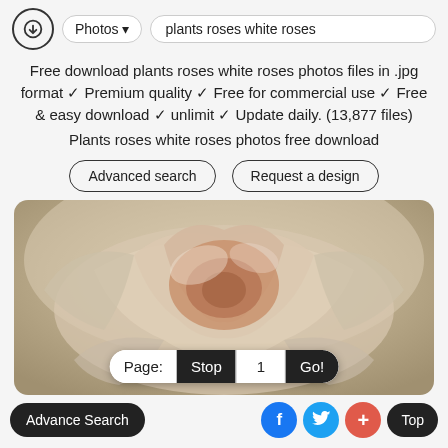Photos ▾  plants roses white roses
Free download plants roses white roses photos files in .jpg format ✓ Premium quality ✓ Free for commercial use ✓ Free & easy download ✓ unlimit ✓ Update daily. (13,877 files)
Plants roses white roses photos free download
Advanced search   Request a design
[Figure (photo): Close-up macro photo of a white/cream rose with soft petals, warm beige and peach tones]
Page:  Stop  1  Go!
Advance Search  f  (Twitter bird)  +  Top